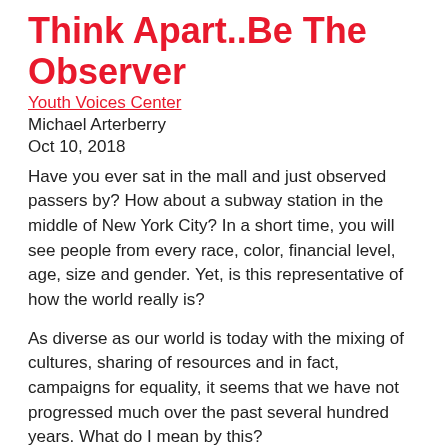Think Apart..Be The Observer
Youth Voices Center
Michael Arterberry
Oct 10, 2018
Have you ever sat in the mall and just observed passers by? How about a subway station in the middle of New York City? In a short time, you will see people from every race, color, financial level, age, size and gender. Yet, is this representative of how the world really is?
As diverse as our world is today with the mixing of cultures, sharing of resources and in fact, campaigns for equality, it seems that we have not progressed much over the past several hundred years. What do I mean by this?
Unfortunately, in society today, there still exists an unspoken divide. “Unspoken”, you ask? Well, of course, we all strive for racial inclusion, equality and respect for all and chant to “Stop Bullying”. But, the swirling undertow of the climate continues to call and we have not realized it to ...